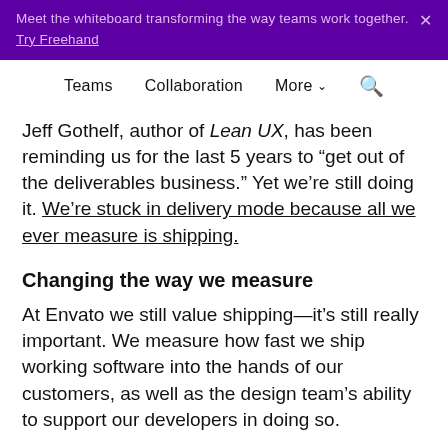Meet the whiteboard transforming the way teams work together. Try Freehand
Teams  Collaboration  More  Search
Jeff Gothelf, author of Lean UX, has been reminding us for the last 5 years to “get out of the deliverables business.” Yet we’re still doing it. We’re stuck in delivery mode because all we ever measure is shipping.
Changing the way we measure
At Envato we still value shipping—it’s still really important. We measure how fast we ship working software into the hands of our customers, as well as the design team’s ability to support our developers in doing so.